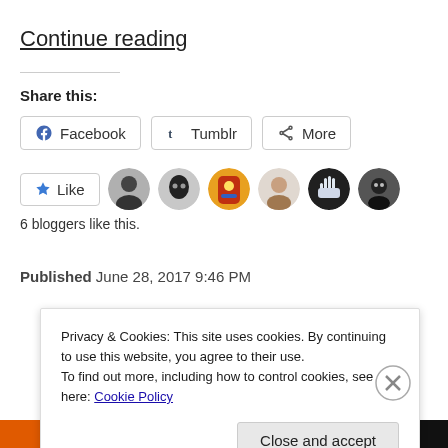Continue reading
Share this:
Facebook   Tumblr   More
Like
6 bloggers like this.
Published June 28, 2017 9:46 PM
Privacy & Cookies: This site uses cookies. By continuing to use this website, you agree to their use.
To find out more, including how to control cookies, see here: Cookie Policy
Close and accept